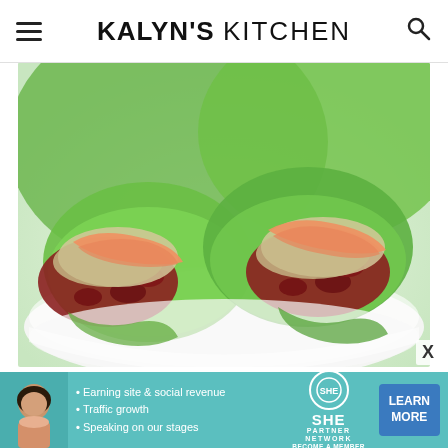KALYN'S KITCHEN
[Figure (photo): A white bowl containing lettuce wraps filled with corned beef, sauerkraut, and drizzled with a creamy orange Thousand Island-style dressing.]
[Figure (infographic): SHE Media Partner Network advertisement banner with avatar image, bullet points: Earning site & social revenue, Traffic growth, Speaking on our stages. Includes SHE Partner Network logo and LEARN MORE button.]